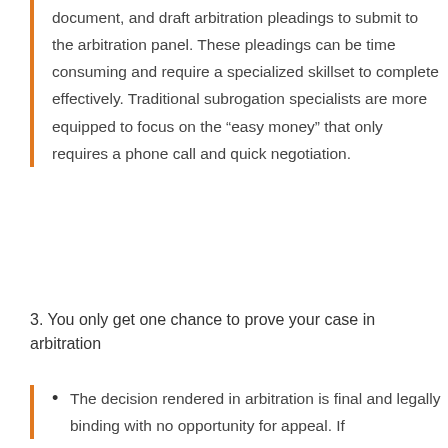document, and draft arbitration pleadings to submit to the arbitration panel. These pleadings can be time consuming and require a specialized skillset to complete effectively. Traditional subrogation specialists are more equipped to focus on the “easy money” that only requires a phone call and quick negotiation.
3. You only get one chance to prove your case in arbitration
The decision rendered in arbitration is final and legally binding with no opportunity for appeal. If